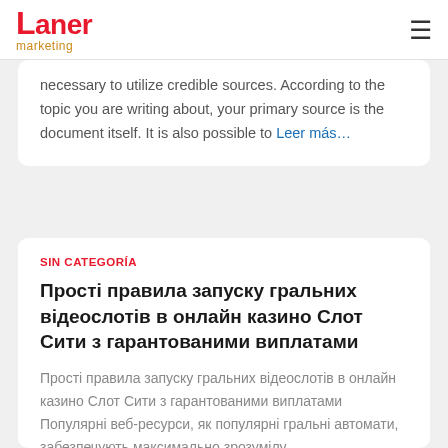Laner marketing
necessary to utilize credible sources. According to the topic you are writing about, your primary source is the document itself. It is also possible to Leer más…
SIN CATEGORÍA
Прості правила запуску гральних відеослотів в онлайн казино Слот Сити з гарантованими виплатами
Прості правила запуску гральних відеослотів в онлайн казино Слот Сити з гарантованими виплатами Популярні веб-ресурси, як популярні гральні автомати, забезпечують максимально зрозумілу